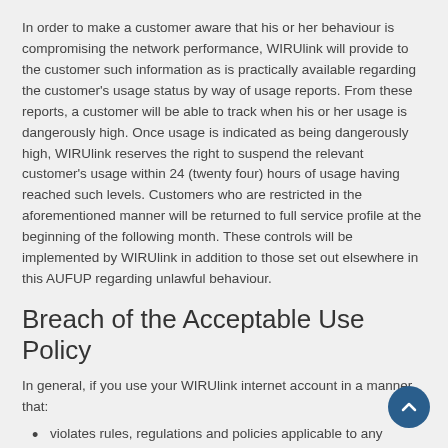In order to make a customer aware that his or her behaviour is compromising the network performance, WIRUlink will provide to the customer such information as is practically available regarding the customer's usage status by way of usage reports. From these reports, a customer will be able to track when his or her usage is dangerously high. Once usage is indicated as being dangerously high, WIRUlink reserves the right to suspend the relevant customer's usage within 24 (twenty four) hours of usage having reached such levels. Customers who are restricted in the aforementioned manner will be returned to full service profile at the beginning of the following month. These controls will be implemented by WIRUlink in addition to those set out elsewhere in this AUFUP regarding unlawful behaviour.
Breach of the Acceptable Use Policy
In general, if you use your WIRUlink internet account in a manner that:
violates rules, regulations and policies applicable to any